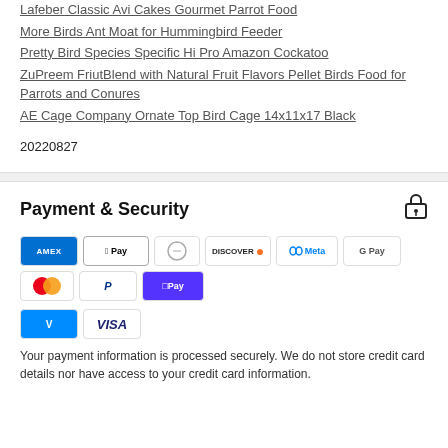Lafeber Classic Avi Cakes Gourmet Parrot Food
More Birds Ant Moat for Hummingbird Feeder
Pretty Bird Species Specific Hi Pro Amazon Cockatoo
ZuPreem FriutBlend with Natural Fruit Flavors Pellet Birds Food for Parrots and Conures
AE Cage Company Ornate Top Bird Cage 14x11x17 Black
20220827
Payment & Security
[Figure (infographic): Payment method logos: AMEX, Apple Pay, Diners Club, Discover, Meta Pay, Google Pay, Mastercard, PayPal, Shop Pay, Venmo, Visa]
Your payment information is processed securely. We do not store credit card details nor have access to your credit card information.